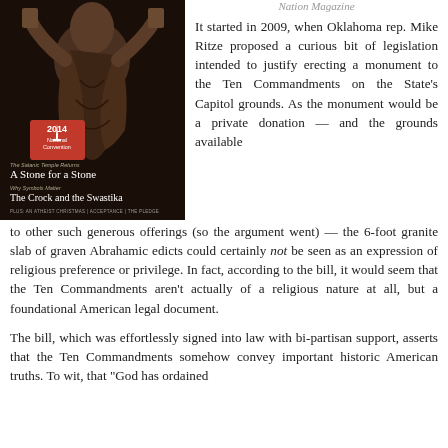Nation Magazine
[Figure (illustration): Magazine cover showing a stone sculpture of Moses or a biblical figure, with text overlay reading '2014 National Convention', 'The Satanic Temple Returns: A Stone for a Stone', 'Why Symbols Matter: The Crock and the Swastika', 'PLUS: AN ATHEIST CHRISTMAS | ACCEPTANCE | THE PLEDGE']
It started in 2009, when Oklahoma rep. Mike Ritze proposed a curious bit of legislation intended to justify erecting a monument to the Ten Commandments on the State's Capitol grounds. As the monument would be a private donation — and the grounds available to other such generous offerings (so the argument went) — the 6-foot granite slab of graven Abrahamic edicts could certainly not be seen as an expression of religious preference or privilege. In fact, according to the bill, it would seem that the Ten Commandments aren't actually of a religious nature at all, but a foundational American legal document.
The bill, which was effortlessly signed into law with bi-partisan support, asserts that the Ten Commandments somehow convey important historic American truths. To wit, that "God has ordained"...